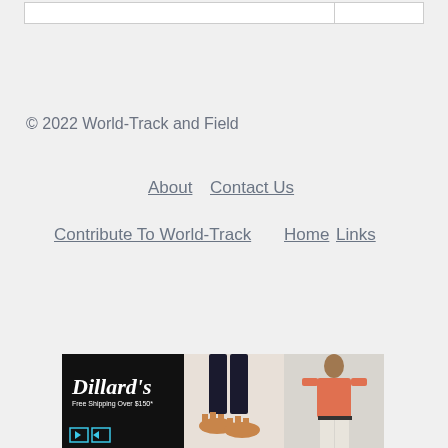© 2022 World-Track and Field
About
Contact Us
Contribute To World-Track
Home
Links
[Figure (photo): Dillard's advertisement banner showing fashion items including sandals and a man in a pink shirt. Text reads: Dillard's Free Shipping Over $150*]